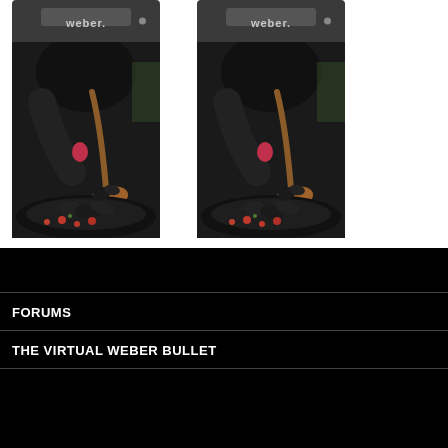[Figure (photo): Two side-by-side photos of Weber grill lid (top) and cooking scene with mussels being stirred in a wok-style pan with wooden spoon (bottom), repeated twice]
FORUMS
THE VIRTUAL WEBER BULLET